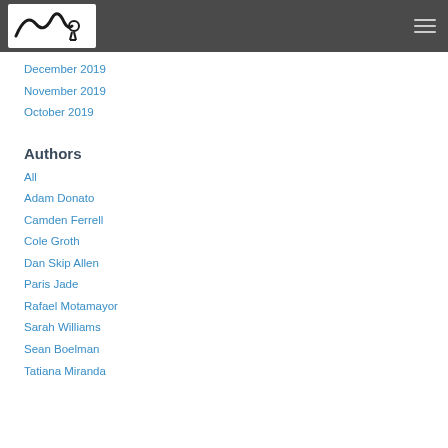December 2019
November 2019
October 2019
Authors
All
Adam Donato
Camden Ferrell
Cole Groth
Dan Skip Allen
Paris Jade
Rafael Motamayor
Sarah Williams
Sean Boelman
Tatiana Miranda